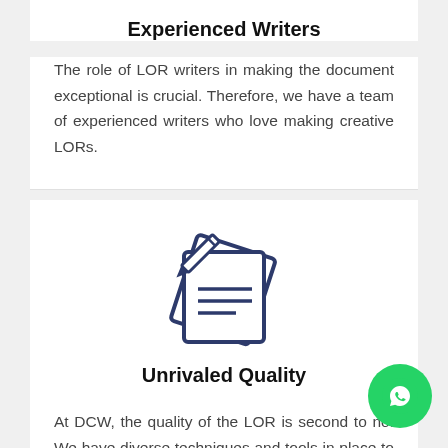Experienced Writers
The role of LOR writers in making the document exceptional is crucial. Therefore, we have a team of experienced writers who love making creative LORs.
[Figure (illustration): Icon of a document/paper with a pen/pencil writing on it, rendered in dark navy blue outline style]
Unrivaled Quality
At DCW, the quality of the LOR is second to no. We have diverse techniques and tools in place to assess the quality consistently throughout the